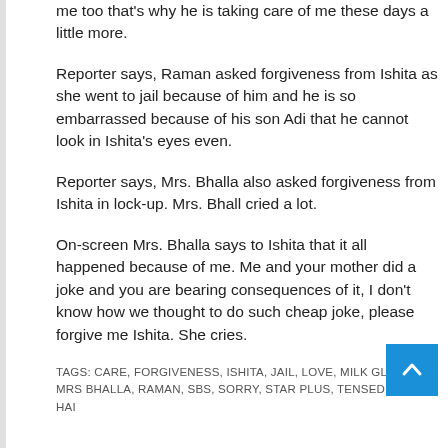me too that's why he is taking care of me these days a little more.
Reporter says, Raman asked forgiveness from Ishita as she went to jail because of him and he is so embarrassed because of his son Adi that he cannot look in Ishita's eyes even.
Reporter says, Mrs. Bhalla also asked forgiveness from Ishita in lock-up. Mrs. Bhall cried a lot.
On-screen Mrs. Bhalla says to Ishita that it all happened because of me. Me and your mother did a joke and you are bearing consequences of it, I don't know how we thought to do such cheap joke, please forgive me Ishita. She cries.
TAGS: CARE, FORGIVENESS, ISHITA, JAIL, LOVE, MILK GLASS, MRS BHALLA, RAMAN, SBS, SORRY, STAR PLUS, TENSED, YEH HAI